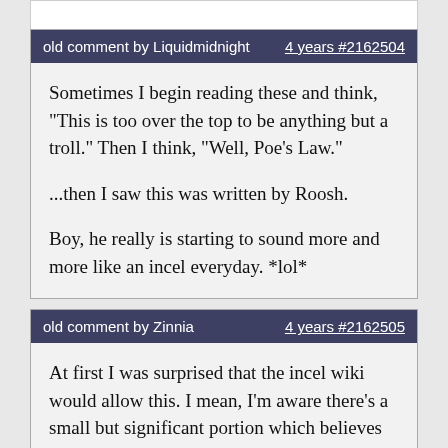old comment by Liquidmidnight   4 years #2162504
Sometimes I begin reading these and think, "This is too over the top to be anything but a troll." Then I think, "Well, Poe's Law."

...then I saw this was written by Roosh.

Boy, he really is starting to sound more and more like an incel everyday. *lol*
old comment by Zinnia   4 years #2162505
At first I was surprised that the incel wiki would allow this. I mean, I'm aware there's a small but significant portion which believes in this sort of thing, but it's also heresy to the incel orthodoxy, because sex workers don't count